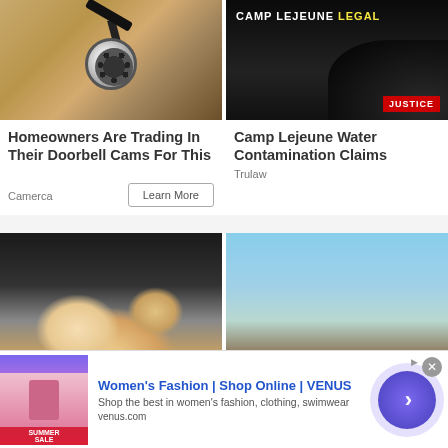[Figure (photo): Security camera mounted on a brick wall]
Homeowners Are Trading In Their Doorbell Cams For This
Camerca
Learn More
[Figure (photo): Camp Lejeune Legal advertisement with dark background]
Camp Lejeune Water Contamination Claims
Trulaw
[Figure (photo): Puppies photo with infolinks badge]
[Figure (photo): Mountain landscape under blue sky]
[Figure (advertisement): Women's Fashion | Shop Online | VENUS advertisement banner. Shop the best in women's fashion, clothing, swimwear. venus.com]